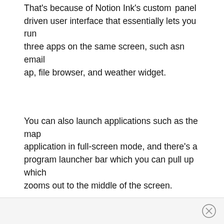That's because of Notion Ink's custom 'panel driven user interface that essentially lets you run three apps on the same screen, such asn email ap, file browser, and weather widget.
You can also launch applications such as the map application in full-screen mode, and there's a program launcher bar which you can pull up which zooms out to the middle of the screen.
×